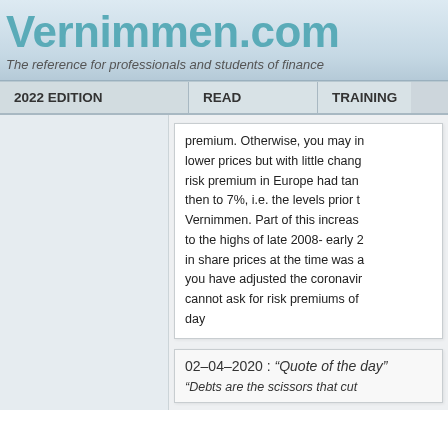Vernimmen.com
The reference for professionals and students of finance
2022 EDITION | READ | TRAINING
premium. Otherwise, you may in lower prices but with little chang risk premium in Europe had tan then to 7%, i.e. the levels prior t Vernimmen. Part of this increas to the highs of late 2008- early 2 in share prices at the time was a you have adjusted the coronavir cannot ask for risk premiums of day
02-04-2020 : “Quote of the day”
“Debts are the scissors that cut